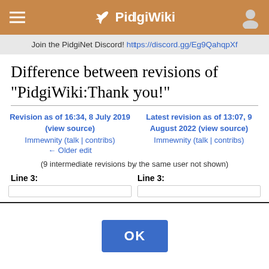PidgiWiki
Join the PidgiNet Discord! https://discord.gg/Eg9QahqpXf
Difference between revisions of "PidgiWiki:Thank you!"
Revision as of 16:34, 8 July 2019 (view source)
Immewnity (talk | contribs)
← Older edit

Latest revision as of 13:07, 9 August 2022 (view source)
Immewnity (talk | contribs)
(9 intermediate revisions by the same user not shown)
Line 3:
Line 3: